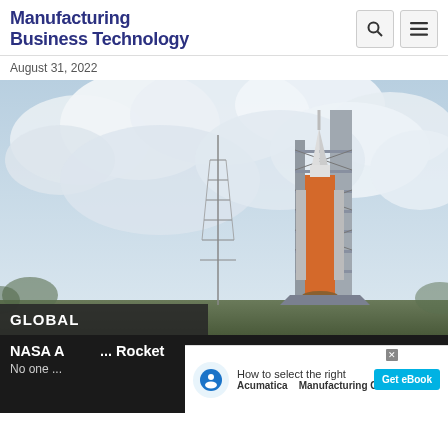Manufacturing Business Technology
August 31, 2022
[Figure (photo): NASA Space Launch System (SLS) rocket on the launch pad with service structure tower, cloudy sky background]
GLOBAL
NASA A... Rocket
No one...
[Figure (infographic): Advertisement overlay: Acumatica - How to select the right Manufacturing Cloud ERP, Get eBook button]